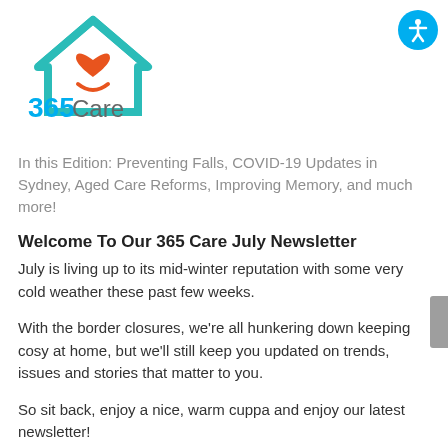[Figure (logo): 365 Care logo with a teal house icon containing an orange heart, and the text '365Care' below]
In this Edition: Preventing Falls, COVID-19 Updates in Sydney, Aged Care Reforms, Improving Memory, and much more!
Welcome To Our 365 Care July Newsletter
July is living up to its mid-winter reputation with some very cold weather these past few weeks.
With the border closures, we're all hunkering down keeping cosy at home, but we'll still keep you updated on trends, issues and stories that matter to you.
So sit back, enjoy a nice, warm cuppa and enjoy our latest newsletter!